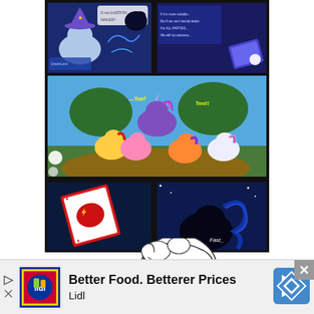[Figure (illustration): Multi-panel comic strip featuring My Little Pony characters. Top panels show a blue pony (Trixie) with dark blue/black background and speech bubbles. Middle large panel shows colorful ponies (Apple Bloom, Twilight Sparkle, Scootaloo, Sweetie Belle) in an outdoor scene with speech text 'Too!!'. Bottom panels show a playing card and a dark silhouette of a pony. Artist signature visible.]
Source
[Figure (illustration): Partial sketch/line art drawing of a cartoon pony face with glasses and braided hair, shown from the front, cut off at bottom of page.]
[Figure (other): Advertisement banner for Lidl: 'Better Food. Betterer Prices Lidl' with Lidl logo, navigation arrow icon, close button (X), and play/skip controls on the left.]